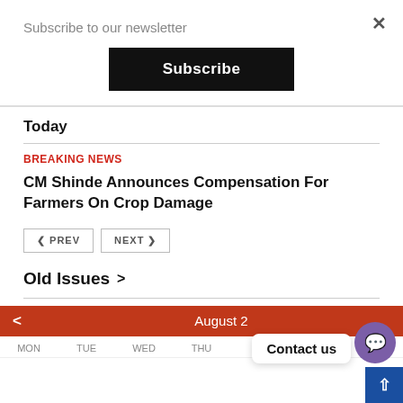Subscribe to our newsletter
Subscribe
Today
BREAKING NEWS
CM Shinde Announces Compensation For Farmers On Crop Damage
< PREV   NEXT >
Old Issues >
< August 2...
MON  TUE  WED  THU  FRI  SAT  S